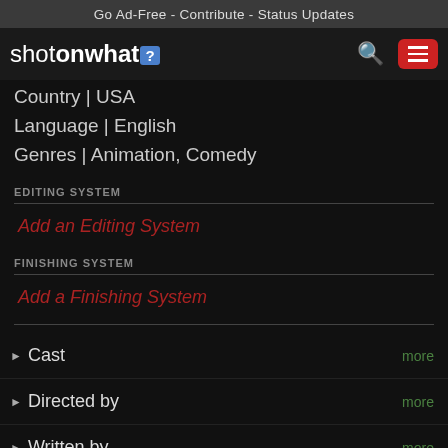Go Ad-Free - Contribute - Status Updates
[Figure (screenshot): ShotOnWhat? website navigation bar with logo, search icon, and hamburger menu button]
Country | USA
Language | English
Genres | Animation, Comedy
EDITING SYSTEM
Add an Editing System
FINISHING SYSTEM
Add a Finishing System
Cast  more
Directed by  more
Written by  more